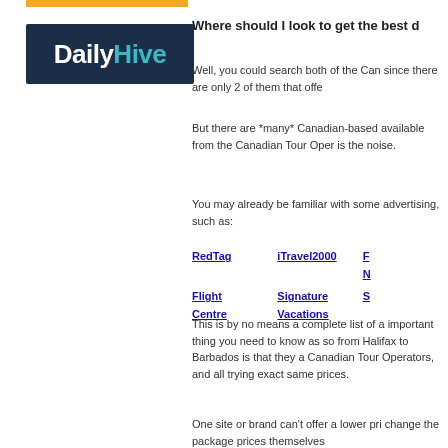[Figure (logo): DailyHive logo: dark navy background with white 'Daily' and teal 'Hive' text]
Where should I look to get the best d
Well, you could search both of the Can since there are only 2 of them that offe
But there are *many* Canadian-based available from the Canadian Tour Oper is the noise.
You may already be familiar with some advertising, such as:
RedTag
iTravel2000
Flight Centre
Signature Vacations
This is by no means a complete list of a important thing you need to know as so from Halifax to Barbados is that they a Canadian Tour Operators, and all trying exact same prices.
One site or brand can't offer a lower pri change the package prices themselves